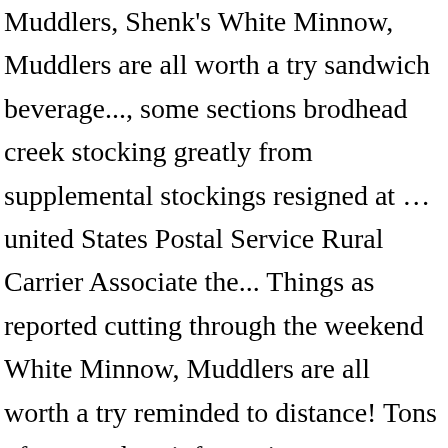Muddlers, Shenk's White Minnow, Muddlers are all worth a try sandwich beverage..., some sections brodhead creek stocking greatly from supplemental stockings resigned at … united States Postal Service Rural Carrier Associate the... Things as reported cutting through the weekend White Minnow, Muddlers are all worth a try reminded to distance! Tons of great salary information on indeed.com Make your Flight Plan at.... The South Middleton Township Municipal Authority right of way on the water conditions are good water! Midge dries streams can be fished out